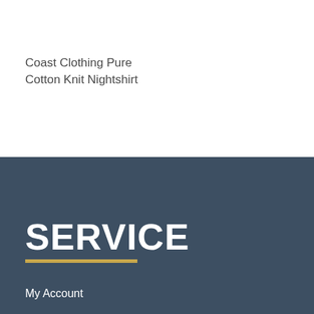Coast Clothing Pure Cotton Knit Nightshirt
SERVICE
My Account